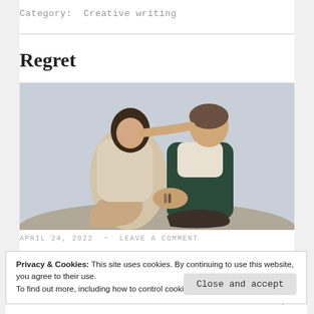Category: Creative writing
Regret
[Figure (photo): A young couple sitting together; a man kisses a woman on the forehead while she leans into him with eyes closed. Both are casually dressed against a light grey background.]
APRIL 24, 2022  ~  LEAVE A COMMENT
Privacy & Cookies: This site uses cookies. By continuing to use this website, you agree to their use.
To find out more, including how to control cookies, see here: Cookie Policy
Close and accept